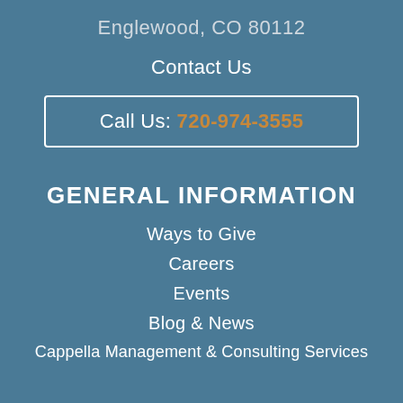Englewood, CO 80112
Contact Us
Call Us: 720-974-3555
GENERAL INFORMATION
Ways to Give
Careers
Events
Blog & News
Cappella Management & Consulting Services